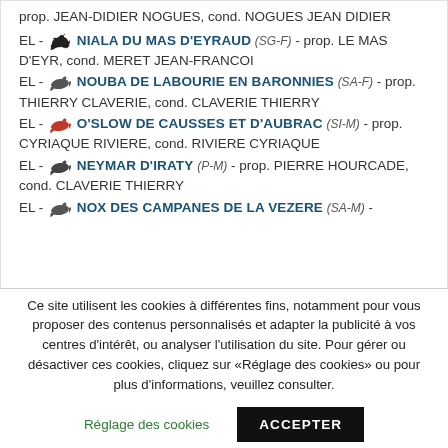EL - NIALA DU MAS D'EYRAUD (SG-F) - prop. LE MAS D'EYR, cond. MERET JEAN-FRANCOI
EL - NOUBA DE LABOURIE EN BARONNIES (SA-F) - prop. THIERRY CLAVERIE, cond. CLAVERIE THIERRY
EL - O'SLOW DE CAUSSES ET D'AUBRAC (SI-M) - prop. CYRIAQUE RIVIERE, cond. RIVIERE CYRIAQUE
EL - NEYMAR D'IRATY (P-M) - prop. PIERRE HOURCADE, cond. CLAVERIE THIERRY
EL - NOX DES CAMPANES DE LA VEZERE (SA-M) -
Ce site utilisent les cookies à différentes fins, notamment pour vous proposer des contenus personnalisés et adapter la publicité à vos centres d'intérêt, ou analyser l'utilisation du site. Pour gérer ou désactiver ces cookies, cliquez sur «Réglage des cookies» ou pour plus d'informations, veuillez consulter.
Réglage des cookies
ACCEPTER